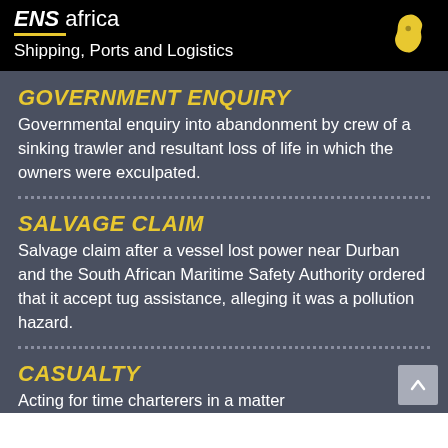ENS africa – Shipping, Ports and Logistics
GOVERNMENT ENQUIRY
Governmental enquiry into abandonment by crew of a sinking trawler and resultant loss of life in which the owners were exculpated.
SALVAGE CLAIM
Salvage claim after a vessel lost power near Durban and the South African Maritime Safety Authority ordered that it accept tug assistance, alleging it was a pollution hazard.
CASUALTY
Acting for time charterers in a matter involving a fire on board a vessel